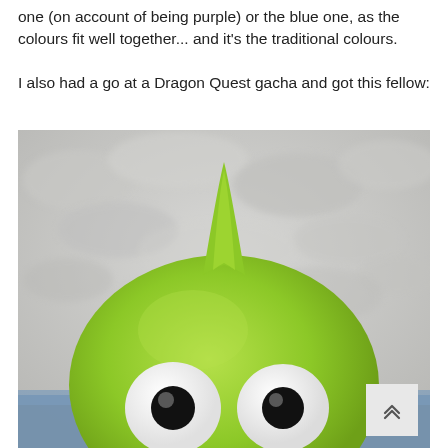one (on account of being purple) or the blue one, as the colours fit well together... and it's the traditional colours.
I also had a go at a Dragon Quest gacha and got this fellow:
[Figure (photo): Close-up photo of a green Dragon Quest slime figurine with two large white eyes with black pupils, a rounded teardrop body shape with a small pointed top, set against a blurred light grey/white textured background with a hint of blue at the bottom. A scroll-up button with chevron arrow is visible in the bottom right corner.]